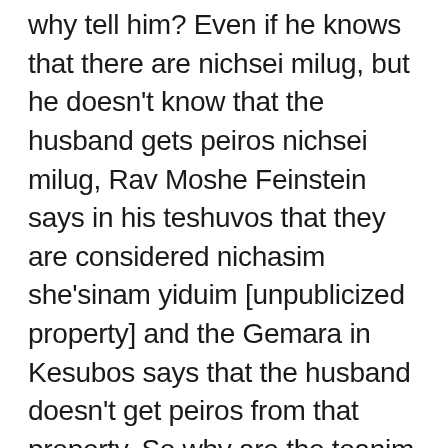why tell him? Even if he knows that there are nichsei milug, but he doesn't know that the husband gets peiros nichsei milug, Rav Moshe Feinstein says in his teshuvos that they are considered nichasim she'sinam yiduim [unpublicized property] and the Gemara in Kesubos says that the husband doesn't get peiros from that property. So why are the toanim telling the husband that he is entitled? Just to make more agmas nefesh (aggravation)?